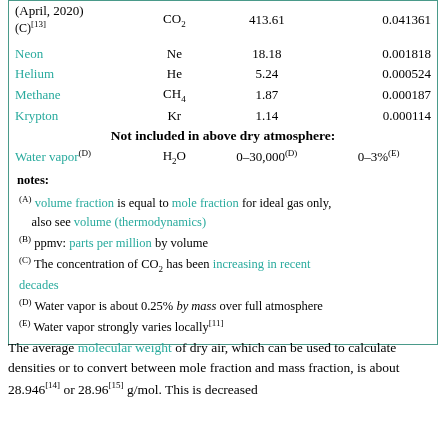| Gas | Symbol | ppmv | Fraction |
| --- | --- | --- | --- |
| (April, 2020) (C)[13] | CO2 | 413.61 | 0.041361 |
| Neon | Ne | 18.18 | 0.001818 |
| Helium | He | 5.24 | 0.000524 |
| Methane | CH4 | 1.87 | 0.000187 |
| Krypton | Kr | 1.14 | 0.000114 |
| Not included in above dry atmosphere: |  |  |  |
| Water vapor(D) | H2O | 0–30,000(D) | 0–3%(E) |
notes:
(A) volume fraction is equal to mole fraction for ideal gas only, also see volume (thermodynamics)
(B) ppmv: parts per million by volume
(C) The concentration of CO2 has been increasing in recent decades
(D) Water vapor is about 0.25% by mass over full atmosphere
(E) Water vapor strongly varies locally[11]
The average molecular weight of dry air, which can be used to calculate densities or to convert between mole fraction and mass fraction, is about 28.946[14] or 28.96[15] g/mol. This is decreased